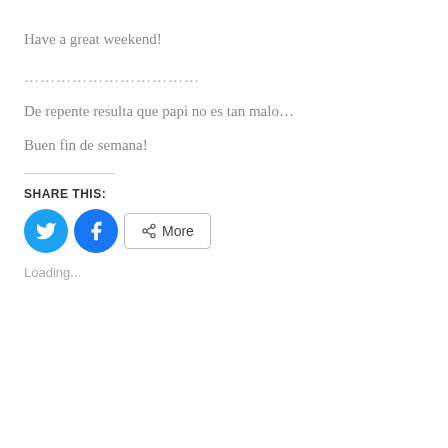Have a great weekend!
…………………………
De repente resulta que papi no es tan malo…
Buen fin de semana!
SHARE THIS:
[Figure (other): Social share buttons: Twitter (blue circle with bird icon), Facebook (blue circle with f icon), and a More button with share icon]
Loading...